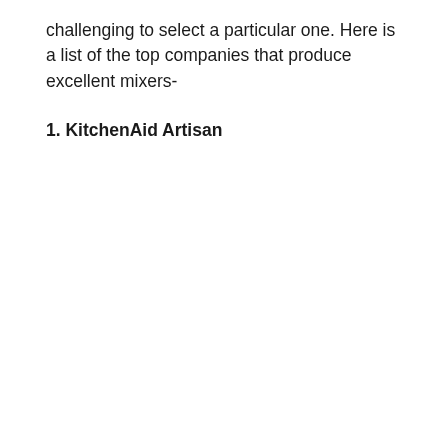challenging to select a particular one. Here is a list of the top companies that produce excellent mixers-
1. KitchenAid Artisan